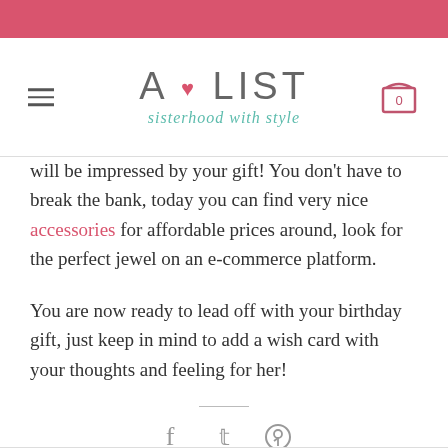[Figure (logo): A-LIST sisterhood with style logo with pink heart bullet]
will be impressed by your gift! You don't have to break the bank, today you can find very nice accessories for affordable prices around, look for the perfect jewel on an e-commerce platform.
You are now ready to lead off with your birthday gift, just keep in mind to add a wish card with your thoughts and feeling for her!
[Figure (other): Social share icons: Facebook, Twitter, Pinterest]